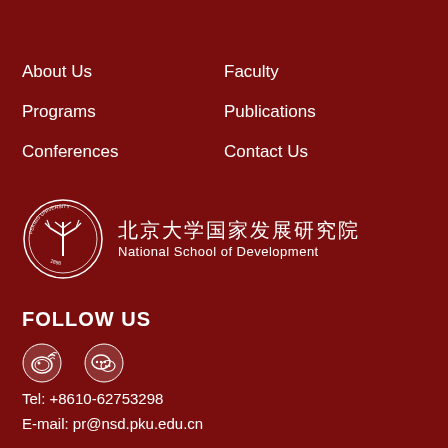About Us
Faculty
Programs
Publications
Conferences
Contact Us
[Figure (logo): Peking University seal logo with circular design and tree emblem, alongside Chinese text 北京大学国家发展研究院 and English text National School of Development]
FOLLOW US
[Figure (illustration): Weibo and WeChat social media icons]
Tel: +8610-62753298
E-mail: pr@nsd.pku.edu.cn